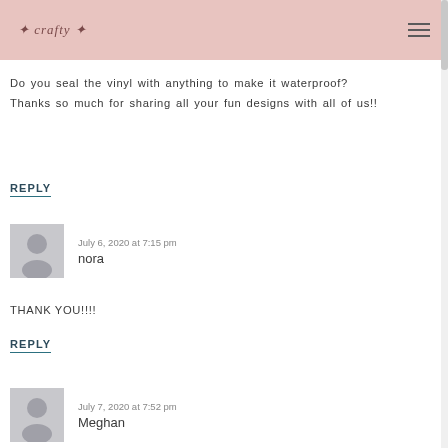crafty
Do you seal the vinyl with anything to make it waterproof?
Thanks so much for sharing all your fun designs with all of us!!
REPLY
July 6, 2020 at 7:15 pm
nora
THANK YOU!!!!
REPLY
July 7, 2020 at 7:52 pm
Meghan